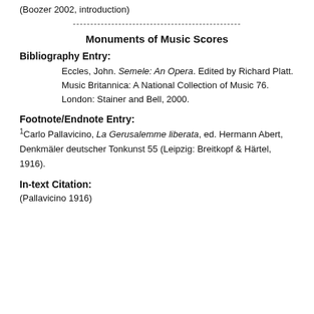(Boozer 2002, introduction)
------------------------------------------------
Monuments of Music Scores
Bibliography Entry:
Eccles, John. Semele: An Opera. Edited by Richard Platt. Music Britannica: A National Collection of Music 76. London: Stainer and Bell, 2000.
Footnote/Endnote Entry:
1Carlo Pallavicino, La Gerusalemme liberata, ed. Hermann Abert, Denkmäler deutscher Tonkunst 55 (Leipzig: Breitkopf & Härtel, 1916).
In-text Citation:
(Pallavicino 1916)